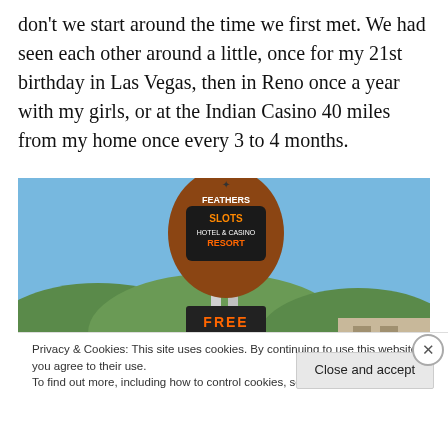don't we start around the time we first met. We had seen each other around a little, once for my 21st birthday in Las Vegas, then in Reno once a year with my girls, or at the Indian Casino 40 miles from my home once every 3 to 4 months.
[Figure (photo): Outdoor photo of a casino resort sign reading 'Feathers Slots Hotel & Casino Resort' with a 'FREE' LED display, set against blue sky and forested hills in the background.]
Privacy & Cookies: This site uses cookies. By continuing to use this website, you agree to their use.
To find out more, including how to control cookies, see here: Cookie Policy